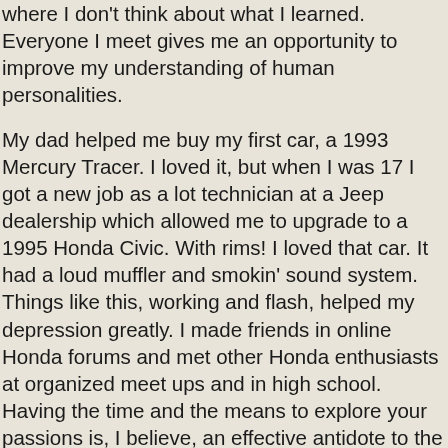where I don't think about what I learned. Everyone I meet gives me an opportunity to improve my understanding of human personalities.
My dad helped me buy my first car, a 1993 Mercury Tracer. I loved it, but when I was 17 I got a new job as a lot technician at a Jeep dealership which allowed me to upgrade to a 1995 Honda Civic. With rims! I loved that car. It had a loud muffler and smokin' sound system. Things like this, working and flash, helped my depression greatly. I made friends in online Honda forums and met other Honda enthusiasts at organized meet ups and in high school. Having the time and the means to explore your passions is, I believe, an effective antidote to the depression experienced by some due to the minor control they have had over their own lives.
At 18 I decided to try my hand at selling cars. My father was a sales manager and everyone knew me as a lot technician. They gave me a shot, but I failed miserably. I found it very difficult to get people to agree to a price that I knew was higher than our lowest offer. I'm not sure I would have those